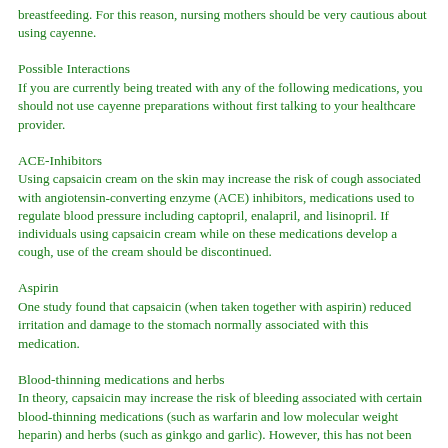breastfeeding. For this reason, nursing mothers should be very cautious about using cayenne.
Possible Interactions
If you are currently being treated with any of the following medications, you should not use cayenne preparations without first talking to your healthcare provider.
ACE-Inhibitors
Using capsaicin cream on the skin may increase the risk of cough associated with angiotensin-converting enzyme (ACE) inhibitors, medications used to regulate blood pressure including captopril, enalapril, and lisinopril. If individuals using capsaicin cream while on these medications develop a cough, use of the cream should be discontinued.
Aspirin
One study found that capsaicin (when taken together with aspirin) reduced irritation and damage to the stomach normally associated with this medication.
Blood-thinning medications and herbs
In theory, capsaicin may increase the risk of bleeding associated with certain blood-thinning medications (such as warfarin and low molecular weight heparin) and herbs (such as ginkgo and garlic). However, this has not been demonstrated. Until more information is